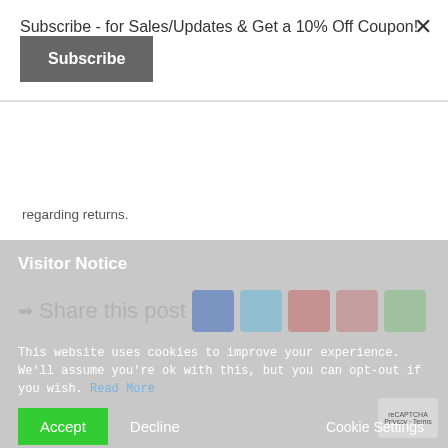Subscribe - for Sales/Updates & Get a 10% Off Coupon!
Subscribe
regarding returns.
Once the return has been received at the warehouse and approved (items are in perfect condition with tags attached) please allow 3-5 business days for your credit card company to process the refund.
Thank you!
Visitor Notice
Share this post
This website uses cookies to improve your experience. We'll assume you're ok with this, but you can opt-out if you wish. Read More
Accept   Decline   Cookie Settings